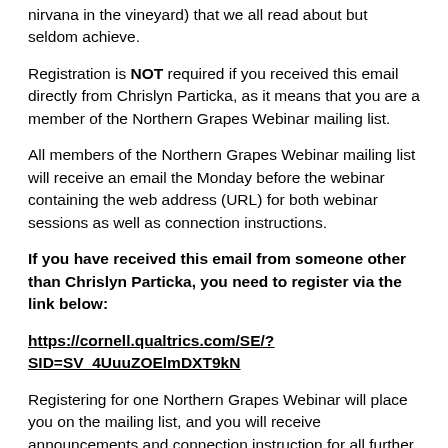nirvana in the vineyard) that we all read about but seldom achieve.
Registration is NOT required if you received this email directly from Chrislyn Particka, as it means that you are a member of the Northern Grapes Webinar mailing list.
All members of the Northern Grapes Webinar mailing list will receive an email the Monday before the webinar containing the web address (URL) for both webinar sessions as well as connection instructions.
If you have received this email from someone other than Chrislyn Particka, you need to register via the link below:
https://cornell.qualtrics.com/SE/?SID=SV_4UuuZOElmDXT9kN
Registering for one Northern Grapes Webinar will place you on the mailing list, and you will receive announcements and connection instruction for all further Northern Grapes Webinars.
Registration will close at 8 am (Eastern) on Monday, November 17th.